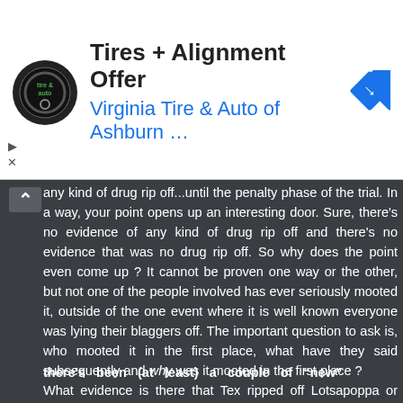[Figure (other): Advertisement banner for Virginia Tire & Auto of Ashburn with logo and navigation arrow icon]
any kind of drug rip off...until the penalty phase of the trial. In a way, your point opens up an interesting door. Sure, there's no evidence of any kind of drug rip off and there's no evidence that was no drug rip off. So why does the point even come up ? It cannot be proven one way or the other, but not one of the people involved has ever seriously mooted it, outside of the one event where it is well known everyone was lying their blaggers off. The important question to ask is, who mooted it in the first place, what have they said subsequently and why was it mooted in the first place ?
What evidence is there that Tex ripped off Lotsapoppa or Linda ripped off Charles Melton ?
But we never doubt either event. Because we are content to take their word for it.
there's been (at least) a couple of “new”